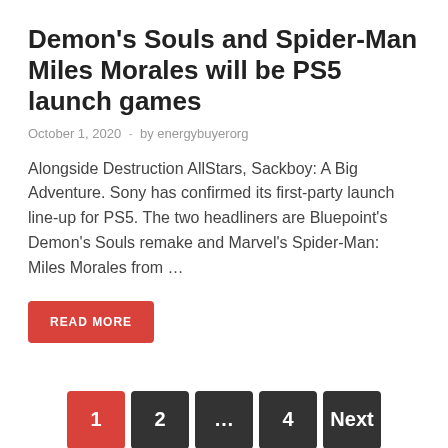Demon's Souls and Spider-Man Miles Morales will be PS5 launch games
October 1, 2020  -  by energybuyerorg
Alongside Destruction AllStars, Sackboy: A Big Adventure. Sony has confirmed its first-party launch line-up for PS5. The two headliners are Bluepoint's Demon's Souls remake and Marvel's Spider-Man: Miles Morales from …
READ MORE
1  2  ...  4  Next
RECENT POSTS